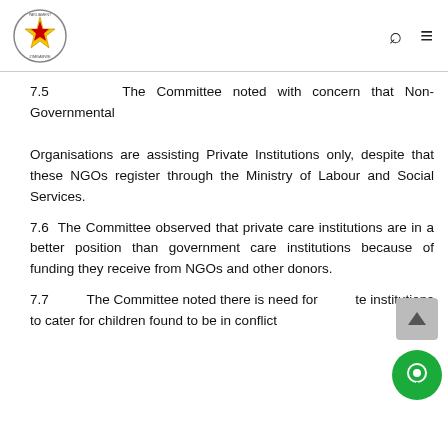Parliament of Zimbabwe header with logo, search icon, and menu icon
7.5	The Committee noted with concern that Non-Governmental

Organisations are assisting Private Institutions only, despite that these NGOs register through the Ministry of Labour and Social Services.
7.6  The Committee observed that private care institutions are in a better position than government care institutions because of funding they receive from NGOs and other donors.
7.7	The Committee noted there is need for private institutions to cater for children found to be in conflict